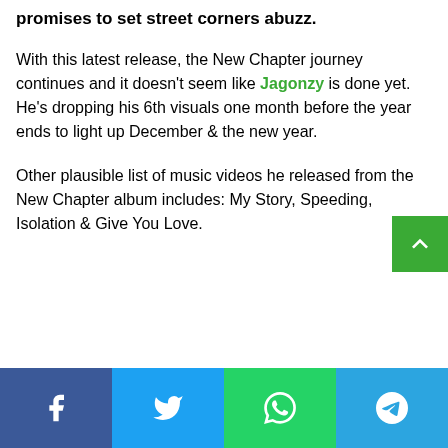promises to set street corners abuzz.
With this latest release, the New Chapter journey continues and it doesn't seem like Jagonzy is done yet. He's dropping his 6th visuals one month before the year ends to light up December & the new year.
Other plausible list of music videos he released from the New Chapter album includes: My Story, Speeding, Isolation & Give You Love.
[Figure (other): Green scroll-to-top button with upward chevron arrow in bottom-right area]
Social share bar: Facebook, Twitter, WhatsApp, Telegram